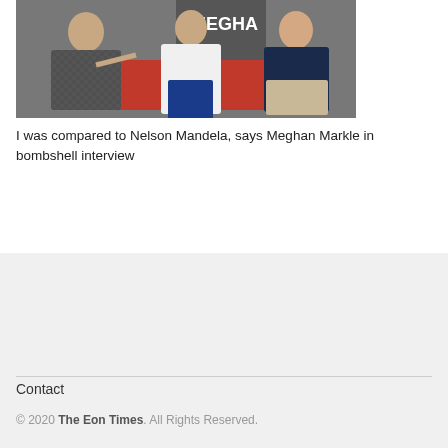[Figure (photo): Three people seated/standing in a group photo; a man pointing on the left, a woman in white in the center, a man in dark navy on the right. Word 'MEGHA' partially visible in background.]
I was compared to Nelson Mandela, says Meghan Markle in bombshell interview
Contact
© 2020 The Eon Times. All Rights Reserved.